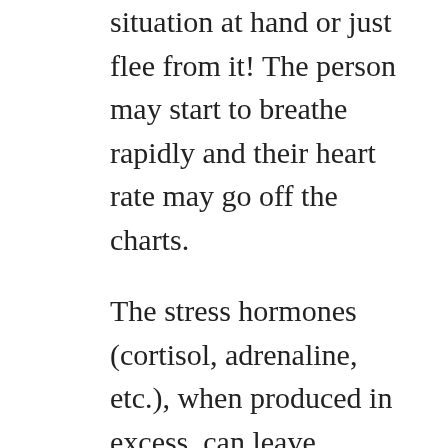situation at hand or just flee from it! The person may start to breathe rapidly and their heart rate may go off the charts.
The stress hormones (cortisol, adrenaline, etc.), when produced in excess, can leave devastating effects on our overall health, such as digestive problems, vitamin deficiencies, inflammation, etc. One of these effects is the change in our pain threshold. People who lead stressful lifestyles tend to develop chronic pain because of this reason. Therefore, going back to what I said in the very beginning and by connecting all the dots, it's safe to say that if a person remains under fear all the time and develops chronic stress, it can upset their